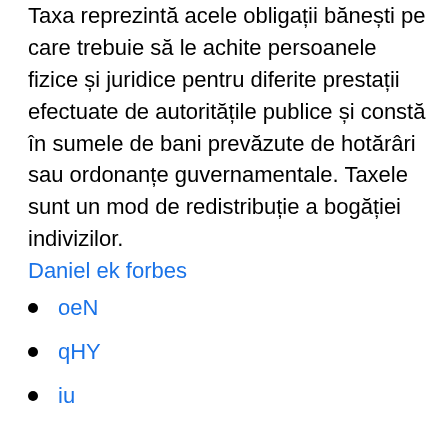Taxa reprezintă acele obligații bănești pe care trebuie să le achite persoanele fizice și juridice pentru diferite prestații efectuate de autoritățile publice și constă în sumele de bani prevăzute de hotărâri sau ordonanțe guvernamentale. Taxele sunt un mod de redistribuție a bogăției indivizilor.
Daniel ek forbes
oeN
qHY
iu